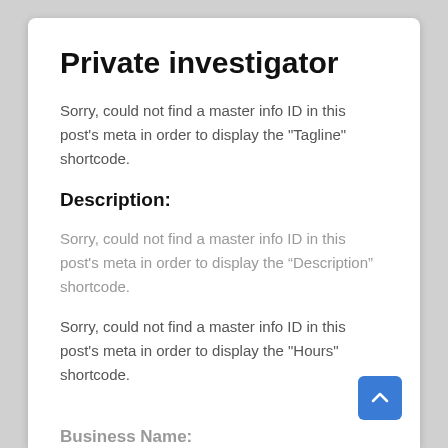Private investigator
Sorry, could not find a master info ID in this post's meta in order to display the "Tagline" shortcode.
Description:
Sorry, could not find a master info ID in this post's meta in order to display the “Description” shortcode.
Sorry, could not find a master info ID in this post's meta in order to display the "Hours" shortcode.
Business Name:
Sorry, could not find a master info ID in this